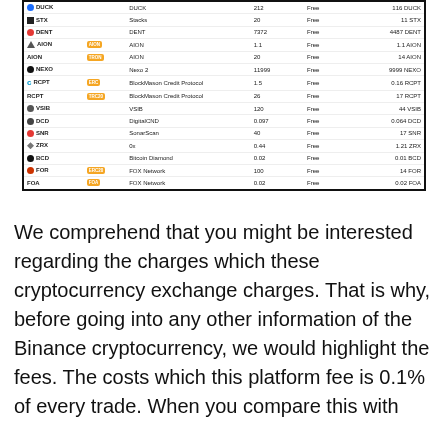| Ticker |  | Name | Min Withdrawal | Fee | Withdrawal Fee |
| --- | --- | --- | --- | --- | --- |
| DUCK |  | DUCK | 212 | Free | 116 DUCK |
| STX |  | Stacks | 20 | Free | 11 STX |
| DENT |  | DENT | 7372 | Free | 4487 DENT |
| AION | AION | AION | 1.1 | Free | 1.1 AION |
| AION | TRON | AION | 20 | Free | 14 AION |
| NEXO |  | Nexo 2 | 11999 | Free | 9999 NEXO |
| RCPT | ERC | BlockMason Credit Protocol | 1.5 | Free | 0.16 RCPT |
| RCPT | TRC20 | BlockMason Credit Protocol | 26 | Free | 17 RCPT |
| VSIB |  | VSIB | 120 | Free | 44 VSIB |
| DCD |  | DigitalCND | 0.097 | Free | 0.064 DCD |
| SNR |  | SonarScan | 40 | Free | 17 SNR |
| ZRX |  | 0x | 0.44 | Free | 1.21 ZRX |
| BCD |  | Bitcoin Diamond | 0.02 | Free | 0.01 BCD |
| FOR | ERC20 | FOX Network | 100 | Free | 14 FOR |
| FOA | FOA | FOX Network | 0.02 | Free | 0.02 FOA |
We comprehend that you might be interested regarding the charges which these cryptocurrency exchange charges. That is why, before going into any other information of the Binance cryptocurrency, we would highlight the fees. The costs which this platform fee is 0.1% of every trade. When you compare this with